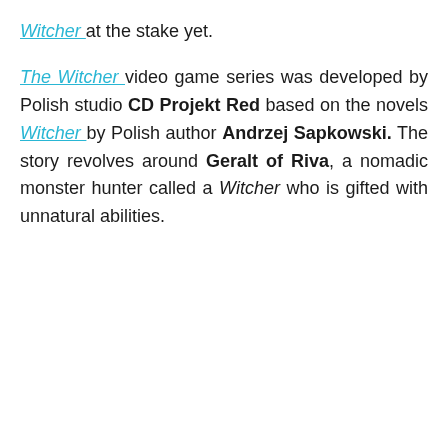Witcher at the stake yet.
The Witcher video game series was developed by Polish studio CD Projekt Red based on the novels Witcher by Polish author Andrzej Sapkowski. The story revolves around Geralt of Riva, a nomadic monster hunter called a Witcher who is gifted with unnatural abilities.